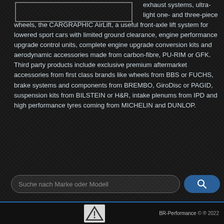exhaust systems, ultra-light one- and three-piece wheels, the CARGRAPHIC AirLift, a useful front-axle lift system for lowered sport cars with limited ground clearance, engine performance upgrade control units, complete engine upgrade conversion kits and aerodynamic accessories made from carbon-fibre, PU-RIM or GFK. Third party products include exclusive premium aftermarket accessories from first class brands like wheels from BBS or FUCHS, brake systems and components from BREMBO, GiroDisc or PAGID, suspension kits from BILSTEIN or H&R, intake plenums from IPD and high performance tyres coming from MICHELIN and DUNLOP.
[Figure (screenshot): Search bar with placeholder text 'Suche nach Marke oder Modell' and a blue search button with magnifier icon]
BR-Performance © ® 2022